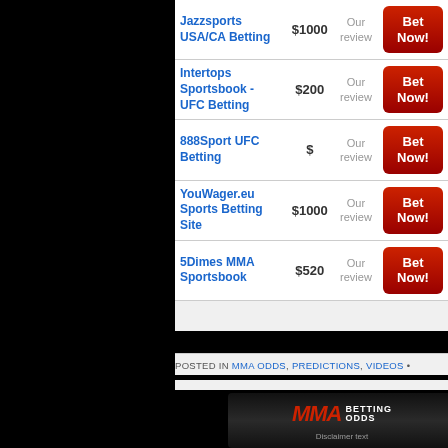| Sportsbook | Bonus | Review | Action |
| --- | --- | --- | --- |
| Jazzsports USA/CA Betting | $1000 | Our review | Bet Now! |
| Intertops Sportsbook - UFC Betting | $200 | Our review | Bet Now! |
| 888Sport UFC Betting | $ | Our review | Bet Now! |
| YouWager.eu Sports Betting Site | $1000 | Our review | Bet Now! |
| 5Dimes MMA Sportsbook | $520 | Our review | Bet Now! |
POSTED IN MMA ODDS, PREDICTIONS, VIDEOS •
[Figure (logo): MMA Betting Odds logo banner — dark background with red italic MMA letters and white BETTING ODDS text]